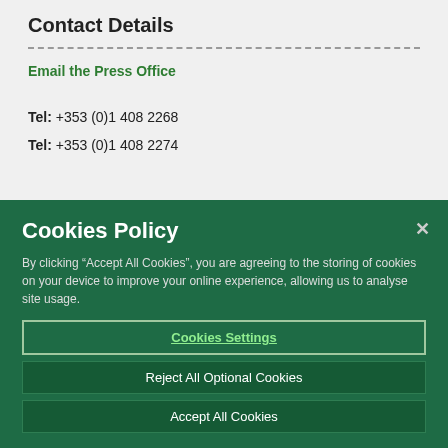Contact Details
Email the Press Office
Tel: +353 (0)1 408 2268
Tel: +353 (0)1 408 2274
Cookies Policy
By clicking “Accept All Cookies”, you are agreeing to the storing of cookies on your device to improve your online experience, allowing us to analyse site usage.
Cookies Settings
Reject All Optional Cookies
Accept All Cookies